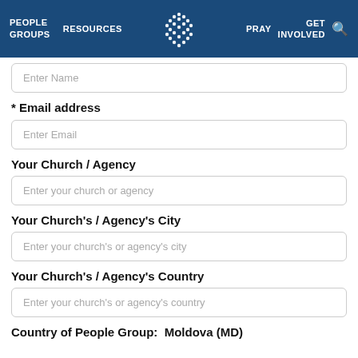PEOPLE GROUPS   RESOURCES   [logo]   PRAY   GET INVOLVED   [search]
Enter Name
* Email address
Enter Email
Your Church / Agency
Enter your church or agency
Your Church's / Agency's City
Enter your church's or agency's city
Your Church's / Agency's Country
Enter your church's or agency's country
Country of People Group:  Moldova (MD)